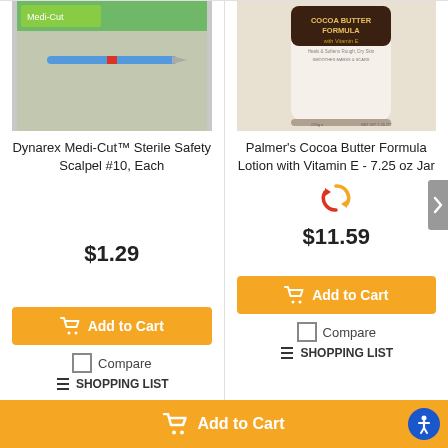[Figure (photo): Dynarex Medi-Cut scalpel with blue handle on light background, with green product box visible]
[Figure (photo): Palmer's Cocoa Butter Formula lotion jar, brown and white label, showing product text]
Dynarex Medi-Cut™ Sterile Safety Scalpel #10, Each
Palmer's Cocoa Butter Formula Lotion with Vitamin E - 7.25 oz Jar
$1.29
$11.59
Add to Cart
Add to Cart
Compare
Compare
SHOPPING LIST
SHOPPING LIST
Add to Cart